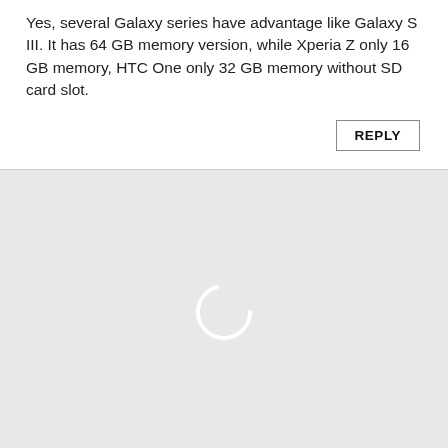Yes, several Galaxy series have advantage like Galaxy S III. It has 64 GB memory version, while Xperia Z only 16 GB memory, HTC One only 32 GB memory without SD card slot.
[Figure (other): Loading spinner (circular arc) centered in a grey area below a comment thread divider]